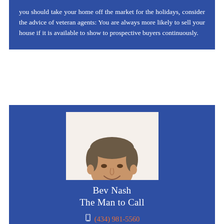you should take your home off the market for the holidays, consider the advice of veteran agents: You are always more likely to sell your house if it is available to show to prospective buyers continuously.
[Figure (photo): Headshot of a middle-aged man with short gray-brown hair, smiling, wearing a blue/green plaid shirt. White background.]
Bev Nash
The Man to Call
(434) 981-5560